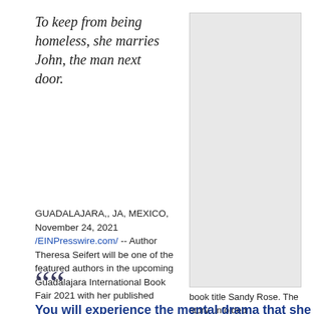To keep from being homeless, she marries John, the man next door.
[Figure (photo): Book cover image placeholder, light gray rectangle]
GUADALAJARA,, JA, MEXICO, November 24, 2021 /EINPresswire.com/ -- Author Theresa Seifert will be one of the featured authors in the upcoming Guadalajara International Book Fair 2021 with her published
book title Sandy Rose. The story unfolded
““ You will experience the mental drama that she endures because